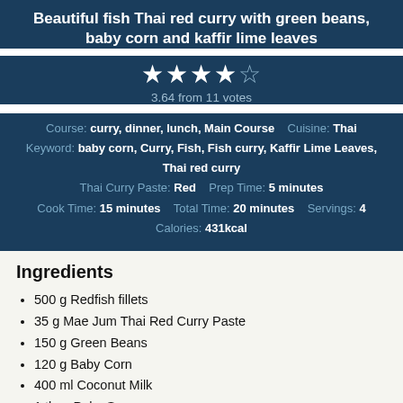Beautiful fish Thai red curry with green beans, baby corn and kaffir lime leaves
3.64 from 11 votes
Course: curry, dinner, lunch, Main Course   Cuisine: Thai
Keyword: baby corn, Curry, Fish, Fish curry, Kaffir Lime Leaves, Thai red curry
Thai Curry Paste: Red   Prep Time: 5 minutes
Cook Time: 15 minutes   Total Time: 20 minutes   Servings: 4
Calories: 431kcal
Ingredients
500 g Redfish fillets
35 g Mae Jum Thai Red Curry Paste
150 g Green Beans
120 g Baby Corn
400 ml Coconut Milk
1 tbsp Palm Sugar
1 tbsp Fish Sauce